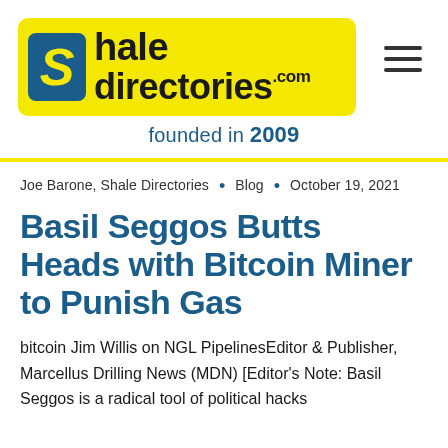[Figure (logo): Shale Directories logo with yellow background, blue S icon, and 'shaledirectories.com' text]
founded in 2009
Joe Barone, Shale Directories • Blog • October 19, 2021
Basil Seggos Butts Heads with Bitcoin Miner to Punish Gas
bitcoin Jim Willis on NGL PipelinesEditor & Publisher, Marcellus Drilling News (MDN) [Editor's Note: Basil Seggos is a radical tool of political hacks